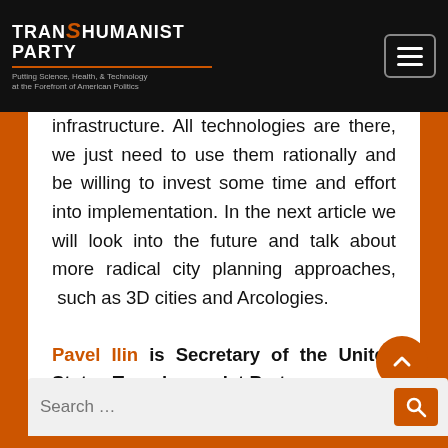TRANSHUMANIST PARTY — Putting Science, Health, & Technology at the Forefront of American Politics
infrastructure. All technologies are there, we just need to use them rationally and be willing to invest some time and effort into implementation. In the next article we will look into the future and talk about more radical city planning approaches, such as 3D cities and Arcologies.
Pavel Ilin is Secretary of the United States Transhumanist Party.